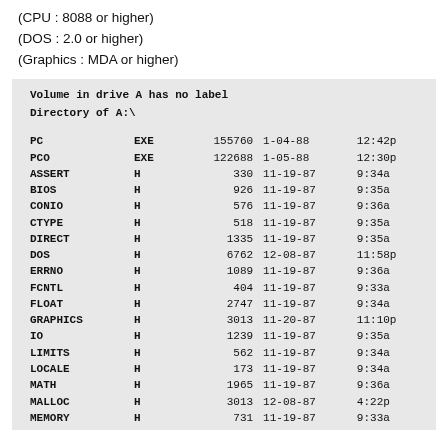(CPU : 8088 or higher)
(DOS : 2.0 or higher)
(Graphics : MDA or higher)
| Name | Ext | Size | Date | Time |
| --- | --- | --- | --- | --- |
| PC | EXE | 155760 | 1-04-88 | 12:42p |
| PCO | EXE | 122688 | 1-05-88 | 12:30p |
| ASSERT | H | 330 | 11-19-87 | 9:34a |
| BIOS | H | 926 | 11-19-87 | 9:35a |
| CONIO | H | 576 | 11-19-87 | 9:36a |
| CTYPE | H | 518 | 11-19-87 | 9:35a |
| DIRECT | H | 1335 | 11-19-87 | 9:35a |
| DOS | H | 6762 | 12-08-87 | 11:58p |
| ERRNO | H | 1089 | 11-19-87 | 9:36a |
| FCNTL | H | 404 | 11-19-87 | 9:33a |
| FLOAT | H | 2747 | 11-19-87 | 9:34a |
| GRAPHICS | H | 3013 | 11-20-87 | 11:10p |
| IO | H | 1239 | 11-19-87 | 9:35a |
| LIMITS | H | 562 | 11-19-87 | 9:34a |
| LOCALE | H | 173 | 11-19-87 | 9:34a |
| MATH | H | 1965 | 11-19-87 | 9:36a |
| MALLOC | H | 3013 | 12-08-87 | 4:22p |
| MEMORY | H | 731 | 11-19-87 | 9:33a |